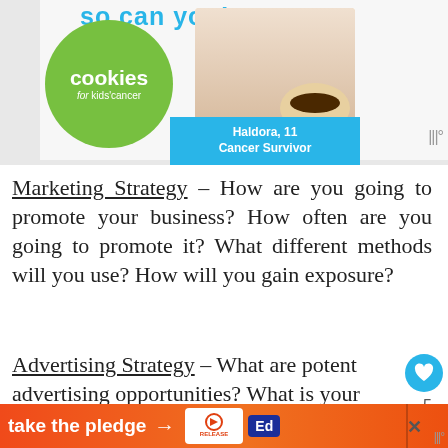[Figure (photo): Advertisement banner for Cookies for Kids Cancer charity. Shows green circle logo with 'cookies for kids cancer' text, a young girl (Haldora, 11, Cancer Survivor) holding a plate of pancakes, teal banner at bottom, and 'so can you!' headline at top.]
Marketing Strategy – How are you going to promote your business? How often are you going to promote it? What different methods will you use? How will you gain exposure?
Advertising Strategy – What are potential advertising opportunities? What is your a…
[Figure (infographic): Bottom banner ad: 'take the pledge' with arrow, Release logo, Ed logo, and close button. Also floating heart (5 saves) and share icons on right side.]